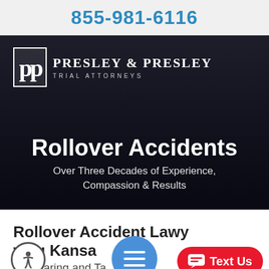855-981-6116
[Figure (screenshot): Hero banner with dark overlay over a damaged/crushed car background. Shows Presley & Presley Trial Attorneys logo (PP monogram in bordered box) top left, with hero text 'Rollover Accidents' and subtitle 'Over Three Decades of Experience, Compassion & Results' centered at bottom.]
Rollover Accidents
Over Three Decades of Experience, Compassion & Results
Rollover Accident Lawyers Serving Kansas
Our Caring and Talented Team Can Fight for